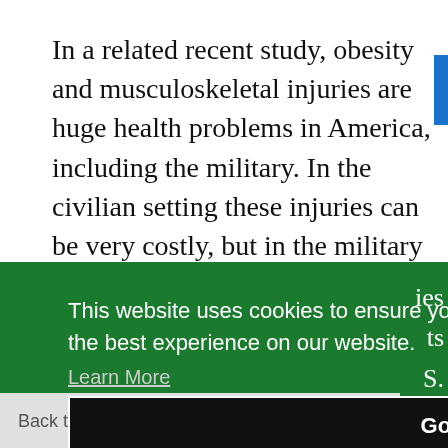In a related recent study, obesity and musculoskeletal injuries are huge health problems in America, including the military. In the civilian setting these injuries can be very costly, but in the military the injuries can also slow down or stop personnel.
[Figure (screenshot): Green cookie consent banner overlay with text 'This website uses cookies to ensure you get the best experience on our website.' with a Learn More link and a Got it! button. A 'Back to the top' button with an upward arrow is also partially visible.]
normal, overweight and obese and AG low...